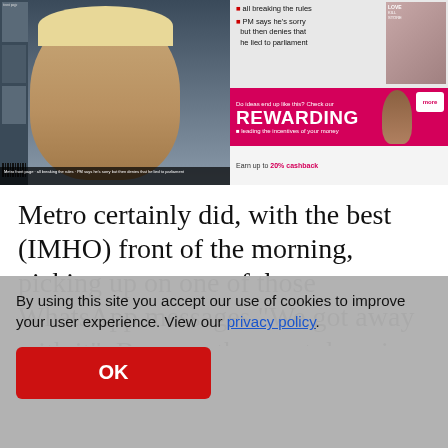[Figure (screenshot): Screenshot of newspaper front pages including Metro and a pink promotional banner saying REWARDING with cashback offer]
Metro certainly did, with the best (IMHO) front of the morning, picking up on one of those WhatsApp messages “We got away with it”. Because the most damning element of the report yesterday (given that Gray decided not to look into the party in the flat that appeared to be the clearest breach of the rules) was not the new photographs, the drunkenness or the
By using this site you accept our use of cookies to improve your user experience. View our privacy policy.
OK